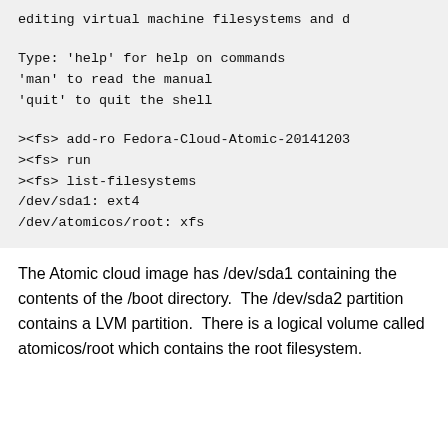editing virtual machine filesystems and d...
Type: 'help' for help on commands
'man' to read the manual
'quit' to quit the shell

><fs> add-ro Fedora-Cloud-Atomic-20141203...
><fs> run
><fs> list-filesystems
/dev/sda1: ext4
/dev/atomicos/root: xfs
The Atomic cloud image has /dev/sda1 containing the contents of the /boot directory.  The /dev/sda2 partition contains a LVM partition.  There is a logical volume called atomicos/root which contains the root filesystem.